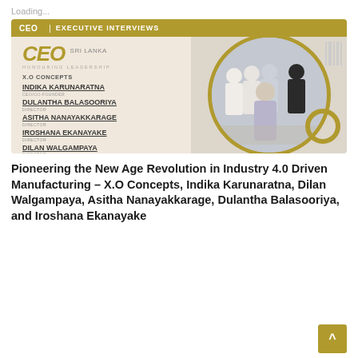Loading...
[Figure (photo): CEO Sri Lanka magazine cover image featuring five men posed together in business attire, with gold banner reading 'CEO | EXECUTIVE INTERVIEWS', CEO Sri Lanka logo, 'HONOURING LEADERSHIP' text, X.O Concepts branding, and names: INDIKA KARUNARATNA (CEO/CO-FOUNDER), DULANTHA BALASOORIYA (DIRECTOR), ASITHA NANAYAKKARAGE (DIRECTOR), IROSHANA EKANAYAKE (DIRECTOR), DILAN WALGAMPAYA (DIRECTOR)]
Pioneering the New Age Revolution in Industry 4.0 Driven Manufacturing – X.O Concepts, Indika Karunaratna, Dilan Walgampaya, Asitha Nanayakkarage, Dulantha Balasooriya, and Iroshana Ekanayake